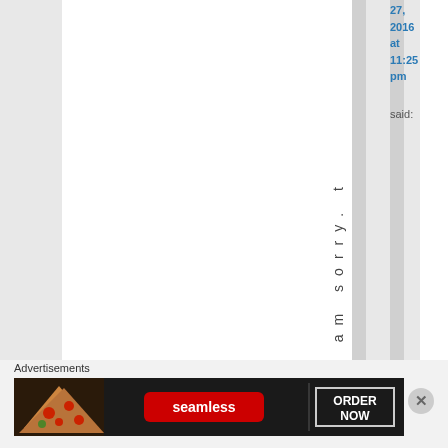27, 2016 at 11:25 pm said:
I am sorry. t
Advertisements
[Figure (photo): Seamless food delivery advertisement banner showing pizza slices on the left, the Seamless logo in the center, and an ORDER NOW call-to-action button on the right, all on a dark background.]